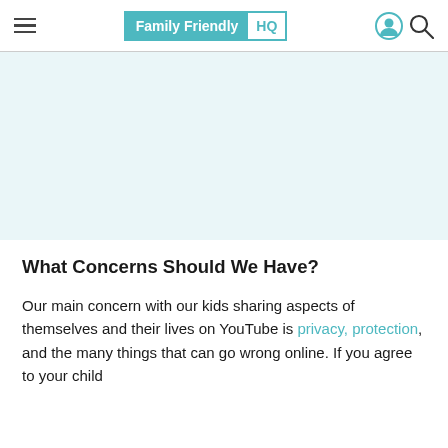Family Friendly HQ
[Figure (other): Light blue advertisement/banner placeholder area]
What Concerns Should We Have?
Our main concern with our kids sharing aspects of themselves and their lives on YouTube is privacy, protection, and the many things that can go wrong online. If you agree to your child starting their own YouTube channel, you must